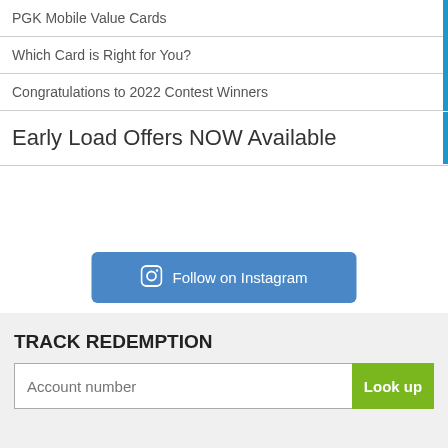PGK Mobile Value Cards
Which Card is Right for You?
Congratulations to 2022 Contest Winners
Early Load Offers NOW Available
[Figure (other): Follow on Instagram button with Instagram camera icon]
TRACK REDEMPTION
Account number | Look up